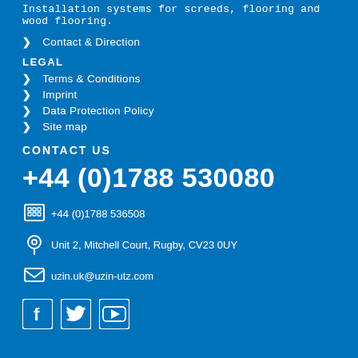Installation systems for screeds, flooring and wood flooring.
Contact & Direction
LEGAL
Terms & Conditions
Imprint
Data Protection Policy
Site map
CONTACT US
+44 (0)1788 530080
+44 (0)1788 536508
Unit 2, Mitchell Court, Rugby, CV23 0UY
uzin.uk@uzin-utz.com
[Figure (other): Social media icons: Facebook, Twitter, YouTube]